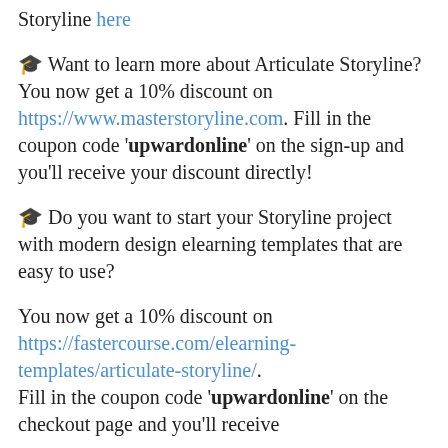Storyline here
🎓 Want to learn more about Articulate Storyline? You now get a 10% discount on https://www.masterstoryline.com. Fill in the coupon code 'upwardonline' on the sign-up and you'll receive your discount directly!
🎓 Do you want to start your Storyline project with modern design elearning templates that are easy to use?
You now get a 10% discount on https://fastercourse.com/elearning-templates/articulate-storyline/. Fill in the coupon code 'upwardonline' on the checkout page and you'll receive